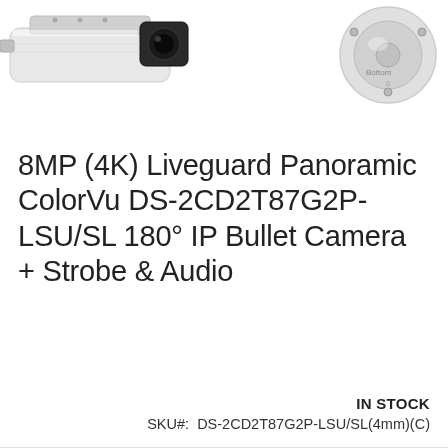[Figure (photo): Security camera product photos — left: front/top view of white bullet camera with black lens housing; right: white dome/mount bracket with 'Bottom' label]
8MP (4K) Liveguard Panoramic ColorVu DS-2CD2T87G2P-LSU/SL 180° IP Bullet Camera + Strobe & Audio
Be the first to review this product
Login to Buy
IN STOCK
SKU#:  DS-2CD2T87G2P-LSU/SL(4mm)(C)